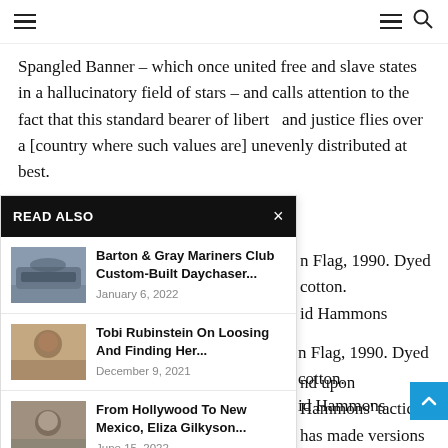Navigation header with hamburger menu and search icon
Spangled Banner – which once united free and slave states in a hallucinatory field of stars – and calls attention to the fact that this standard bearer of liberty and justice flies over a [country where such values are] unevenly distributed at best.
[American] Flag, 1990. Dyed cotton. [David] Hammons
[expanded upon Hammons' tactics. has made versions of the labyrinth or that assign stars to [flag] is a staggering 452 inches known tropes are best flag is required to give the [serve] a function that is
[Figure (screenshot): READ ALSO overlay panel with three article links: 1) Barton & Gray Mariners Club Custom-Built Daychaser... (January 6, 2022) with boat image thumbnail, 2) Tobi Rubinstein On Loosing And Finding Her... (December 9, 2021) with person image thumbnail, 3) From Hollywood To New Mexico, Eliza Gilkyson... (June 15, 2022) with person image thumbnail]